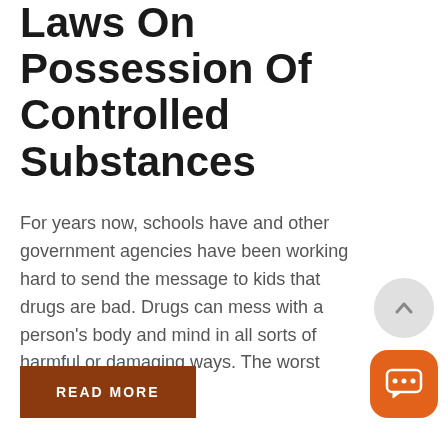Laws On Possession Of Controlled Substances
For years now, schools have and other government agencies have been working hard to send the message to kids that drugs are bad. Drugs can mess with a person's body and mind in all sorts of harmful or damaging ways. The worst drugs are either...
READ MORE